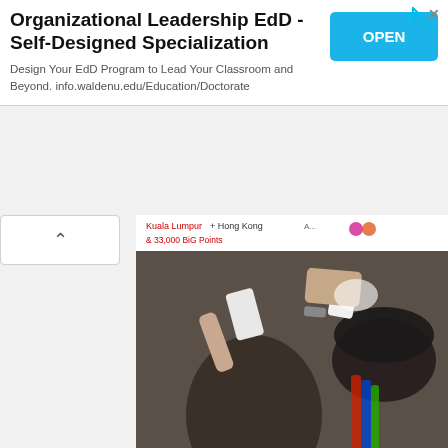[Figure (screenshot): Advertisement banner for Organizational Leadership EdD program from Walden University with an OPEN button]
[Figure (photo): People at an event holding up smartphones to take photos, showing the backs of heads and hands with phones, with a promotional banner visible in background showing 'Kuala Lumpur + Hong Kong & 33,000 BiG Points']
One lucky finalist was announced as apprentice by Jovian Mand... real fashion experience with him and his team at the House o...
[Figure (photo): Two people seated together - a man wearing glasses and a woman with highlighted hair, appearing to be at an event or interview setting]